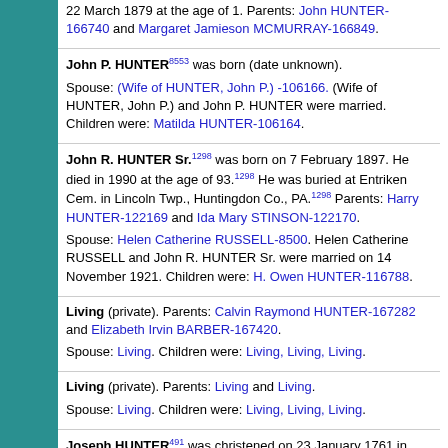22 March 1879 at the age of 1. Parents: John HUNTER-166740 and Margaret Jamieson MCMURRAY-166849.
John P. HUNTER8553 was born (date unknown). Spouse: (Wife of HUNTER, John P.) -106166. (Wife of HUNTER, John P.) and John P. HUNTER were married. Children were: Matilda HUNTER-106164.
John R. HUNTER Sr.1298 was born on 7 February 1897. He died in 1990 at the age of 93.1298 He was buried at Entriken Cem. in Lincoln Twp., Huntingdon Co., PA.1298 Parents: Harry HUNTER-122169 and Ida Mary STINSON-122170. Spouse: Helen Catherine RUSSELL-8500. Helen Catherine RUSSELL and John R. HUNTER Sr. were married on 14 November 1921. Children were: H. Owen HUNTER-116788.
Living (private). Parents: Calvin Raymond HUNTER-167282 and Elizabeth Irvin BARBER-167420. Spouse: Living. Children were: Living, Living, Living.
Living (private). Parents: Living and Living. Spouse: Living. Children were: Living, Living, Living.
Joseph HUNTER491 was christened on 23 January 1761 in Dundonald Parish, Ayrshire, Scotland, UK. Parents: John